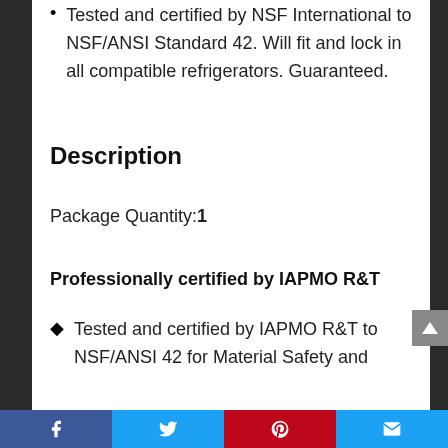Tested and certified by NSF International to NSF/ANSI Standard 42. Will fit and lock in all compatible refrigerators. Guaranteed.
Description
Package Quantity:1
Professionally certified by IAPMO R&T
Tested and certified by IAPMO R&T to NSF/ANSI 42 for Material Safety and
Facebook Twitter Pinterest Email